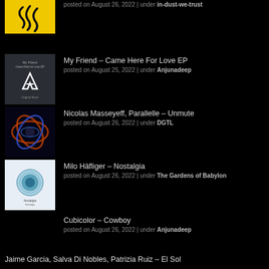posted on August 26, 2022 | under in-dust-we-trust
[Figure (illustration): Album cover: yellow background with black abstract hand/figure logo]
My Friend – Came Here For Love EP
posted on August 25, 2022 | under Anjunadeep
[Figure (illustration): Album cover: dark grey background with white Anjunadeep logo and text 'My Friend Came Here for Love EP Original Mixes']
Nicolas Masseyeff, Parallelle – Unmute
posted on August 26, 2022 | under DGTL
[Figure (illustration): Album cover: dark abstract symmetrical neon pattern with metallic textures]
Milo Häfliger – Nostalgia
posted on August 26, 2022 | under The Gardens of Babylon
[Figure (illustration): Album cover: white/light blue background with circular peacock feather mandala and text Nostalgia]
Cubicolor – Cowboy
posted on August 26, 2022 | under Anjunadeep
Jaime Garcia, Salva Di Nobles, Patrizia Ruiz – El Sol